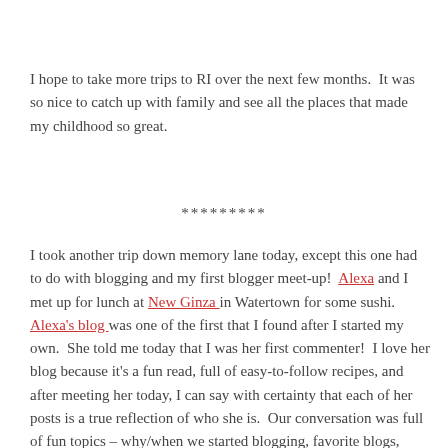I hope to take more trips to RI over the next few months.  It was so nice to catch up with family and see all the places that made my childhood so great.
*********
I took another trip down memory lane today, except this one had to do with blogging and my first blogger meet-up!  Alexa and I met up for lunch at New Ginza in Watertown for some sushi.  Alexa's blog was one of the first that I found after I started my own.  She told me today that I was her first commenter!  I love her blog because it's a fun read, full of easy-to-follow recipes, and after meeting her today, I can say with certainty that each of her posts is a true reflection of who she is.  Our conversation was full of fun topics – why/when we started blogging, favorite blogs, family, boyfriends, friends,